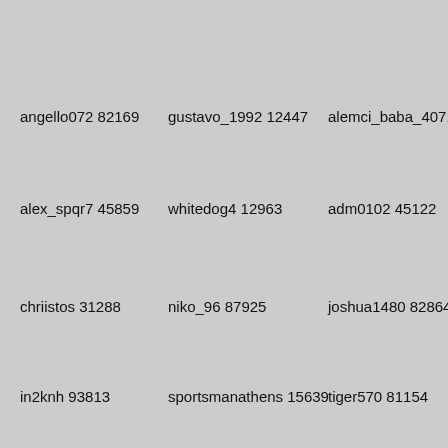angello072 82169
gustavo_1992 12447
alemci_baba_4071 6575
alex_spqr7 45859
whitedog4 12963
adm0102 45122
chriistos 31288
niko_96 87925
joshua1480 82864
in2knh 93813
sportsmanathens 15639
tiger570 81154